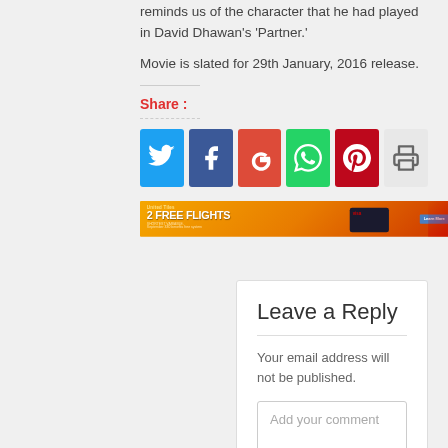reminds us of the character that he had played in David Dhawan's 'Partner.'
Movie is slated for 29th January, 2016 release.
Share:
[Figure (infographic): Row of social media share buttons: Twitter (blue), Facebook (dark blue), Google+ (red), WhatsApp (green), Pinterest (red), Print (gray)]
[Figure (infographic): Advertisement banner: United (airline) - 2 FREE FLIGHTS - gold/orange background with credit card image and Learn More button]
Leave a Reply
Your email address will not be published.
Add your comment